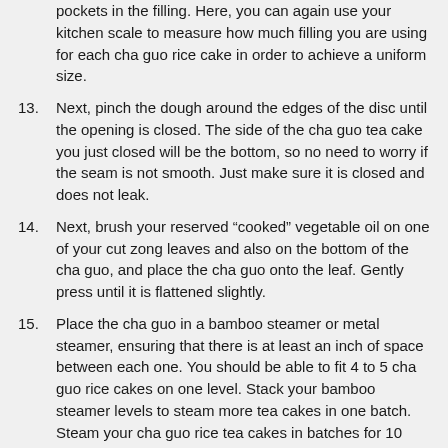(continuation) pockets in the filling. Here, you can again use your kitchen scale to measure how much filling you are using for each cha guo rice cake in order to achieve a uniform size.
13. Next, pinch the dough around the edges of the disc until the opening is closed. The side of the cha guo tea cake you just closed will be the bottom, so no need to worry if the seam is not smooth. Just make sure it is closed and does not leak.
14. Next, brush your reserved “cooked” vegetable oil on one of your cut zong leaves and also on the bottom of the cha guo, and place the cha guo onto the leaf. Gently press until it is flattened slightly.
15. Place the cha guo in a bamboo steamer or metal steamer, ensuring that there is at least an inch of space between each one. You should be able to fit 4 to 5 cha guo rice cakes on one level. Stack your bamboo steamer levels to steam more tea cakes in one batch. Steam your cha guo rice tea cakes in batches for 10 minutes each.
16. Once done, sprinkle a pinch of toasted sesame seeds on top of each rice cake and gently press them in place. Use a basting brush to lightly brush some of the cooked oil you